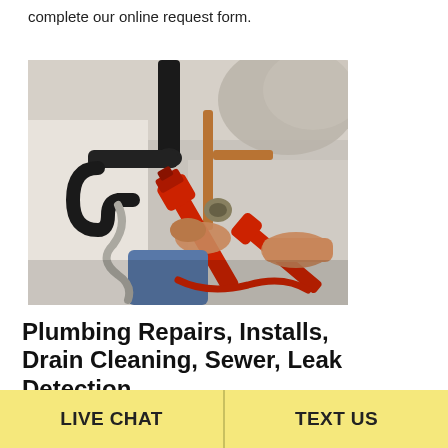complete our online request form.
[Figure (photo): A plumber working under a sink, using a red pipe wrench on plumbing pipes and fittings. Various pipes including black and copper pipes are visible, along with a flexible hose.]
Plumbing Repairs, Installs, Drain Cleaning, Sewer, Leak Detection
LIVE CHAT
TEXT US